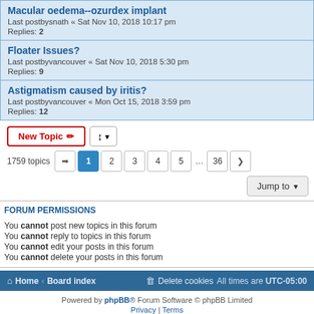Macular oedema--ozurdex implant
Last postbysnath « Sat Nov 10, 2018 10:17 pm
Replies: 2
Floater Issues?
Last postbyvancouver « Sat Nov 10, 2018 5:30 pm
Replies: 9
Astigmatism caused by iritis?
Last postbyvancouver « Mon Oct 15, 2018 3:59 pm
Replies: 12
New Topic | sort button | 1759 topics | pagination 1 2 3 4 5 ... 36
Jump to
FORUM PERMISSIONS
You cannot post new topics in this forum
You cannot reply to topics in this forum
You cannot edit your posts in this forum
You cannot delete your posts in this forum
Home · Board index | Delete cookies  All times are UTC-05:00
Powered by phpBB® Forum Software © phpBB Limited
Privacy | Terms